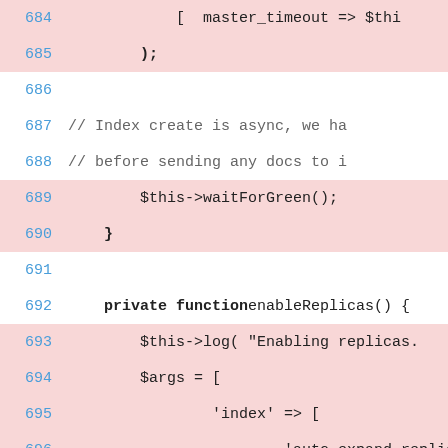[Figure (screenshot): Source code viewer showing PHP code lines 684-702 with line numbers in blue and alternating highlighted (pink) and plain (white) background rows. Code shows a private function enableReplicas() with array assignments and method calls.]